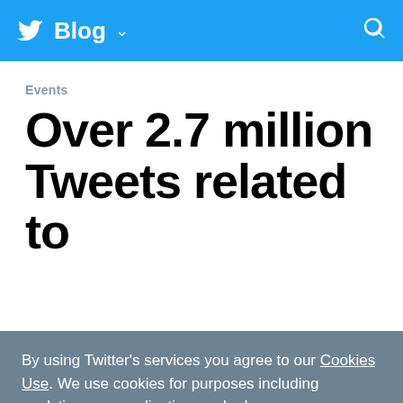Twitter Blog
Events
Over 2.7 million Tweets related to
By using Twitter's services you agree to our Cookies Use. We use cookies for purposes including analytics, personalisation, and ads.